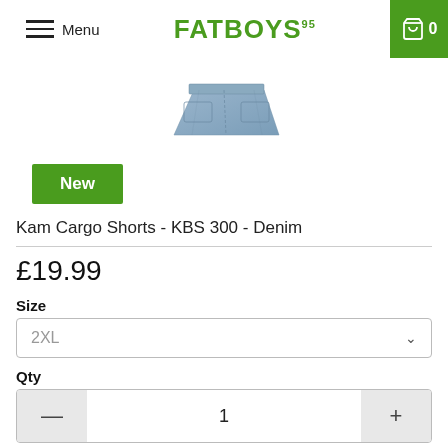Menu | FATBOYS95 | 0
[Figure (photo): Product image of denim cargo shorts folded flat, light blue denim color]
New
Kam Cargo Shorts - KBS 300 - Denim
£19.99
Size
2XL
Qty
1